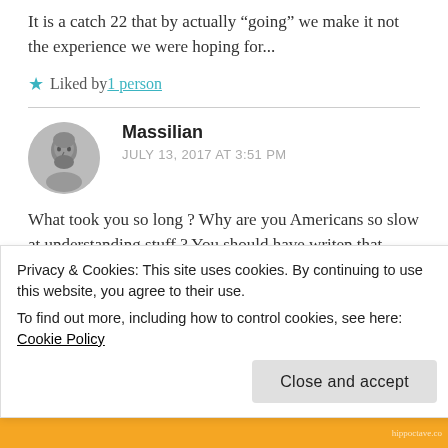It is a catch 22 that by actually “going” we make it not the experience we were hoping for...
★ Liked by 1 person
[Figure (photo): Circular avatar of commenter Massilian showing a classical Greek/Roman style bearded male figure portrait]
Massilian
JULY 13, 2017 AT 3:51 PM
What took you so long ? Why are you Americans so slow at understanding stuff ? You should have writen that
Privacy & Cookies: This site uses cookies. By continuing to use this website, you agree to their use.
To find out more, including how to control cookies, see here: Cookie Policy
Close and accept